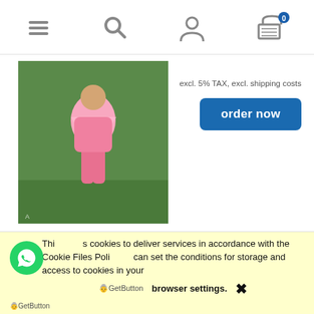Navigation bar with menu, search, account, and cart (0 items) icons
[Figure (photo): Pink salwar kameez outfit worn by a woman, shown on an e-commerce product listing]
excl. 5% TAX, excl. shipping costs
order now
Zulfat Designer Suits Damini Jam Cotton Dress Material ( 10 Pcs Catalog )
[Figure (photo): Woman in bright pink/red outfit, second product listing image]
₹ 5,510.00
( 1 pcs = ₹ 551.00 )
excl. 5% TAX, excl. shipping costs
This site uses cookies to deliver services in accordance with the Cookie Files Policy. You can set the conditions for storage and access to cookies in your browser settings. ✕
DiGetButton